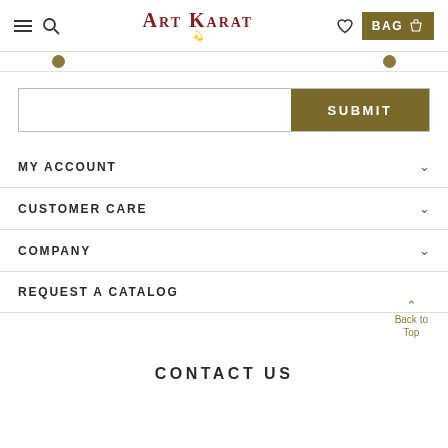Art Karat — navigation header with hamburger menu, search, logo, heart icon, and BAG button
[Figure (screenshot): Art Karat logo with decorative script flourish]
SUBMIT (search bar with submit button)
MY ACCOUNT
CUSTOMER CARE
COMPANY
REQUEST A CATALOG
Back to Top
CONTACT US